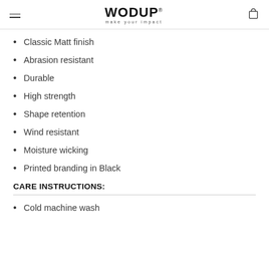WODUP - make your impact
Classic Matt finish
Abrasion resistant
Durable
High strength
Shape retention
Wind resistant
Moisture wicking
Printed branding in Black
CARE INSTRUCTIONS:
Cold machine wash